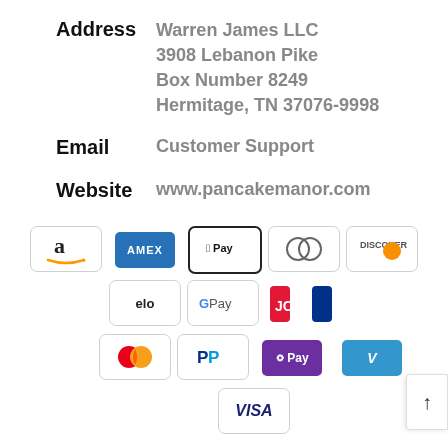Address
Warren James LLC
3908 Lebanon Pike
Box Number 8249
Hermitage, TN 37076-9998
Email
Customer Support
Website
www.pancakemanor.com
[Figure (infographic): Payment method icons: Amazon, American Express, Apple Pay, Diners Club, Discover, Elo, Google Pay, JCB, Mastercard, PayPal, OPay, Venmo, Visa]
Powered by Warren James LLC
f facebook  twitter  instagram  yout